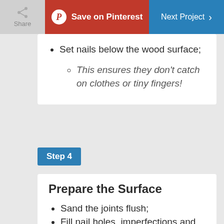Share | Save on Pinterest | Next Project
Set nails below the wood surface;
This ensures they don't catch on clothes or tiny fingers!
Step 4
Prepare the Surface
Sand the joints flush;
Fill nail holes, imperfections and